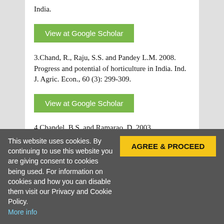India.
View at Google Scholar
3.Chand, R., Raju, S.S. and Pandey L.M. 2008. Progress and potential of horticulture in India. Ind. J. Agric. Econ., 60 (3): 299-309.
View at Google Scholar
4.Chandel, B.S. and Ramarao, D. 2003. “Investment in Oilseeds Research in India”, Econ. and Pol. Weekly, 43(38).
View at Google Scholar
5.Cuddy, J.D.A. and Della, V.B.A.
This website uses cookies. By continuing to use this website you are giving consent to cookies being used. For information on cookies and how you can disable them visit our Privacy and Cookie Policy. More info